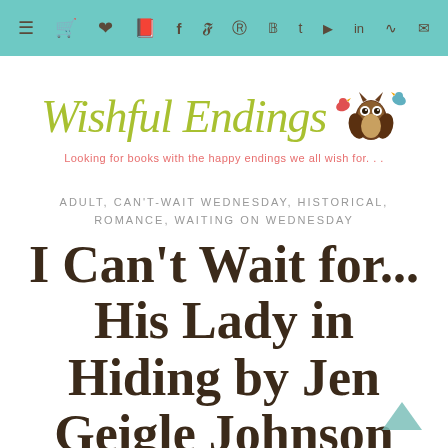Navigation bar with menu and social media icons
[Figure (logo): Wishful Endings blog logo with owl illustration and tagline: Looking for books with the happy endings we all wish for...]
ADULT, CAN'T-WAIT WEDNESDAY, HISTORICAL, ROMANCE, WAITING ON WEDNESDAY
I Can't Wait for... His Lady in Hiding by Jen Geigle Johnson (Can't-Wait Wednesday/Waiting